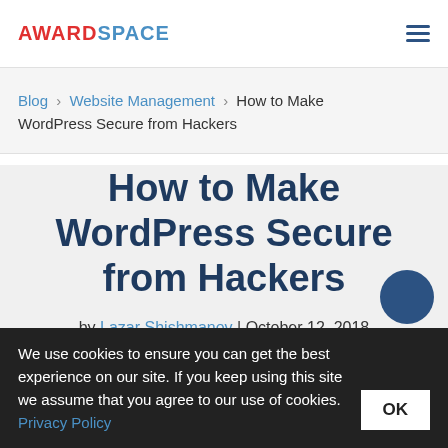AWARDSPACE
Blog › Website Management › How to Make WordPress Secure from Hackers
How to Make WordPress Secure from Hackers
by Lazar Shishmanov | October 12, 2018
We use cookies to ensure you can get the best experience on our site. If you keep using this site we assume that you agree to our use of cookies. Privacy Policy OK